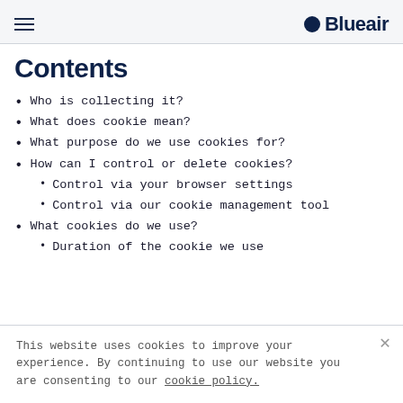Blueair
Contents
Who is collecting it?
What does cookie mean?
What purpose do we use cookies for?
How can I control or delete cookies?
Control via your browser settings
Control via our cookie management tool
What cookies do we use?
Duration of the cookie we use
This website uses cookies to improve your experience. By continuing to use our website you are consenting to our cookie policy.